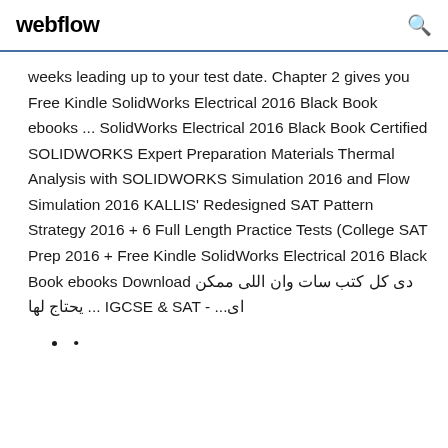webflow
weeks leading up to your test date. Chapter 2 gives you Free Kindle SolidWorks Electrical 2016 Black Book ebooks ... SolidWorks Electrical 2016 Black Book Certified SOLIDWORKS Expert Preparation Materials Thermal Analysis with SOLIDWORKS Simulation 2016 and Flow Simulation 2016 KALLIS' Redesigned SAT Pattern Strategy 2016 + 6 Full Length Practice Tests (College SAT Prep 2016 + Free Kindle SolidWorks Electrical 2016 Black Book ebooks Download دى كل كتب سات وان اللى ممكن يحتاج لها ... IGCSE & SAT - ...اى
•